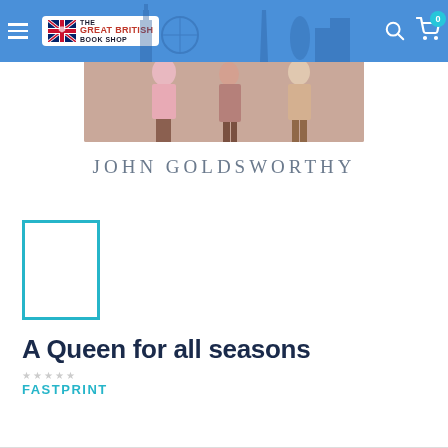The Great British Book Shop
[Figure (illustration): Book cover partial image showing figures in vintage clothing on a brownish-pink background]
JOHN GOLDSWORTHY
[Figure (illustration): Small book cover placeholder with teal border outline]
A Queen for all seasons
FASTPRINT